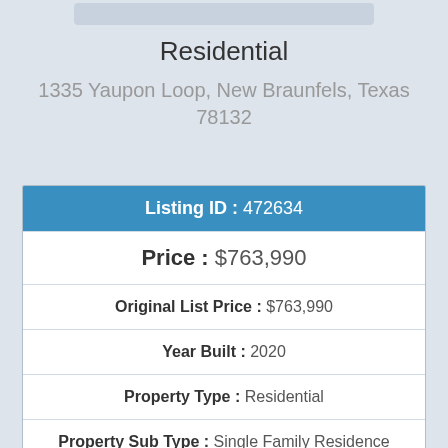Residential
1335 Yaupon Loop, New Braunfels, Texas 78132
| Field | Value |
| --- | --- |
| Listing ID | 472634 |
| Price | $763,990 |
| Original List Price | $763,990 |
| Year Built | 2020 |
| Property Type | Residential |
| Property Sub Type | Single Family Residence |
| Listing Type | For Sale |